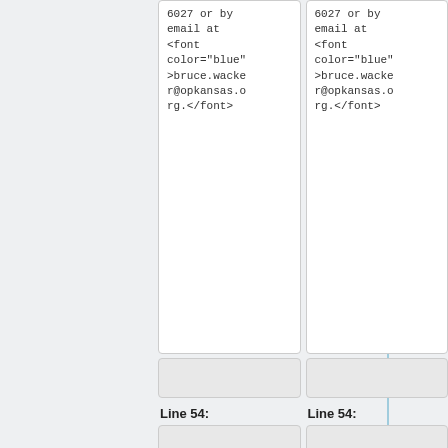| Old Version | New Version |
| --- | --- |
| 6027 or by email at <font color="blue">bruce.wacker@opkansas.org.</font> | 6027 or by email at <font color="blue">bruce.wacker@opkansas.org.</font> |
| (empty) | (empty) |
| Line 54: | Line 54: |
| (empty) | (empty) |
| ==== &nbsp;&nbsp;&nbsp;&nbsp;&nbsp;Functional Street Classifications: ==== | ==== &nbsp;&nbsp;&nbsp;&nbsp;&nbsp;Functional Street Classifications: ==== |
| :The functional... | :The functional... |